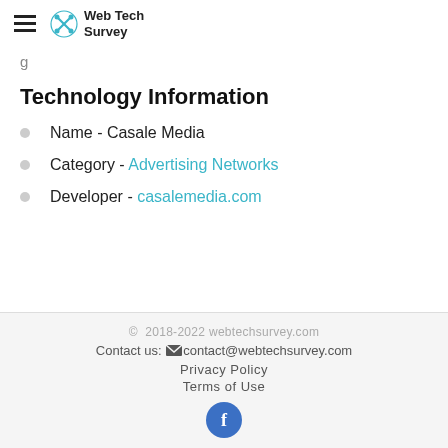Web Tech Survey
g
Technology Information
Name - Casale Media
Category - Advertising Networks
Developer - casalemedia.com
© 2018-2022 webtechsurvey.com
Contact us: contact@webtechsurvey.com
Privacy Policy
Terms of Use